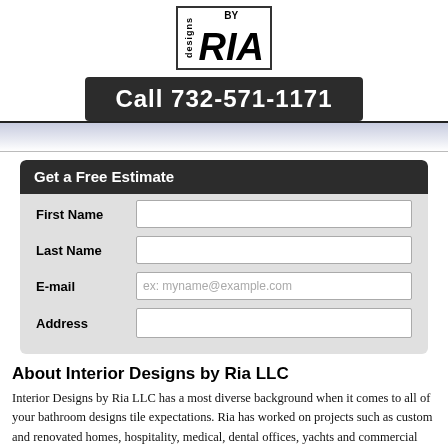[Figure (logo): Designs by RIA logo with stylized text in a bordered box]
Call 732-571-1171
Get a Free Estimate
First Name
Last Name
E-mail
Address
About Interior Designs by Ria LLC
Interior Designs by Ria LLC has a most diverse background when it comes to all of your bathroom designs tile expectations. Ria has worked on projects such as custom and renovated homes, hospitality, medical, dental offices, yachts and commercial interiors throughout the Long Branch, NJ area. Ms. Gulian is the owner of Interior Designs by Ria LLC, an Oceanport based interior design firm with a roster of satisfied clientele